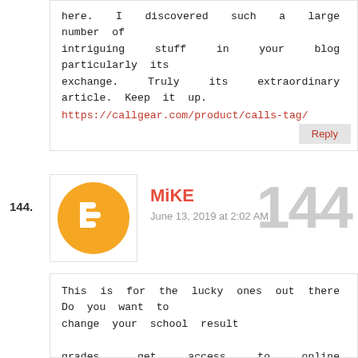here. I discovered such a large number of intriguing stuff in your blog particularly its exchange. Truly its extraordinary article. Keep it up. https://callgear.com/product/calls-tag/
144.
MiKE
June 13, 2019 at 2:02 AM
144
This is for the lucky ones out there Do you want to change your school result

grades, get access to online examination questions before you write the

examination, check what your partner is doing behind your back, get access to

email,     facebook,     twitter,whatsapp,     gmail,